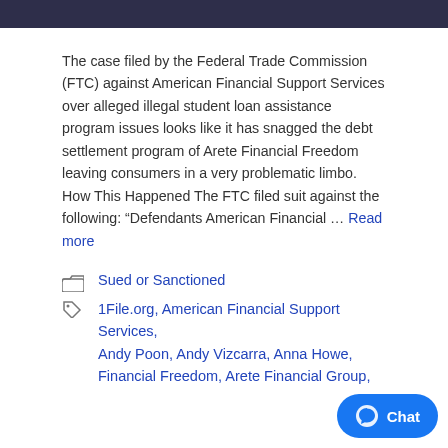[Figure (photo): Dark banner/photo bar at the top of the page]
The case filed by the Federal Trade Commission (FTC) against American Financial Support Services over alleged illegal student loan assistance program issues looks like it has snagged the debt settlement program of Arete Financial Freedom leaving consumers in a very problematic limbo. How This Happened The FTC filed suit against the following: “Defendants American Financial … Read more
Sued or Sanctioned
1File.org, American Financial Support Services, Andy Poon, Andy Vizcarra, Anna Howe, Arete Financial Freedom, Arete Financial Group,